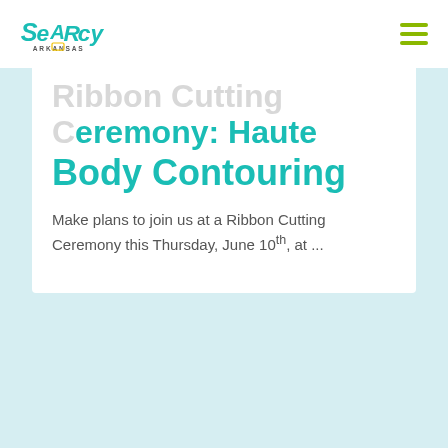Searcy Arkansas logo and navigation
Ribbon Cutting Ceremony: Haute Body Contouring
Make plans to join us at a Ribbon Cutting Ceremony this Thursday, June 10th, at ...